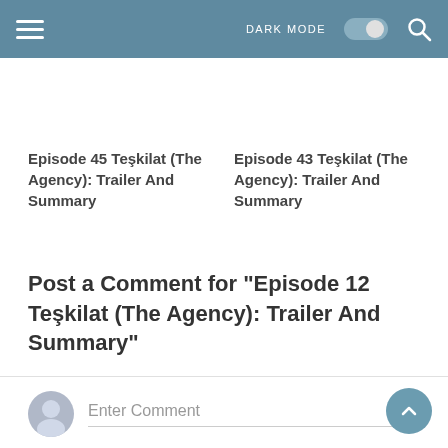DARK MODE [toggle] [search]
Episode 45 Teşkilat (The Agency): Trailer And Summary
Episode 43 Teşkilat (The Agency): Trailer And Summary
Post a Comment for "Episode 12 Teşkilat (The Agency): Trailer And Summary"
Enter Comment